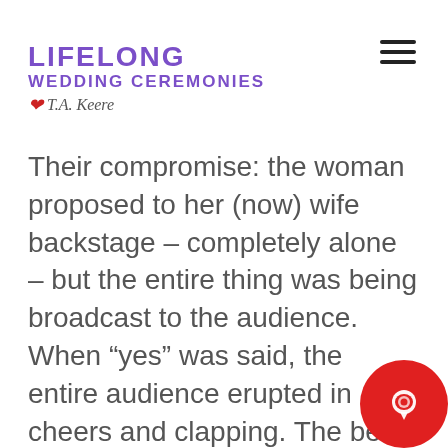Lifelong Wedding Ceremonies with T.A. Keere
Their compromise: the woman proposed to her (now) wife backstage – completely alone – but the entire thing was being broadcast to the audience. When “yes” was said, the entire audience erupted in cheers and clapping. The best part? Neither of them had to see the mass crowd, and yet the intention was still romantically clear!
Playing to your strengths is easy. If you are outspoken and you can sing, woo your s/o that way. You can also play to